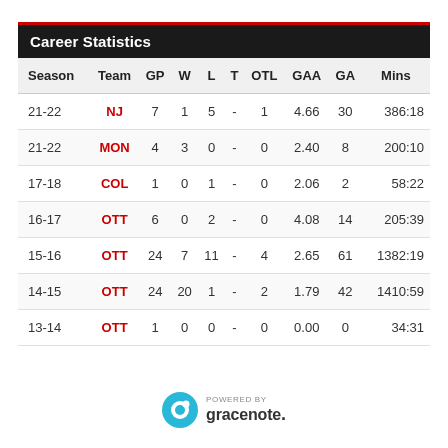Career Statistics
| Season | Team | GP | W | L | T | OTL | GAA | GA | Mins |
| --- | --- | --- | --- | --- | --- | --- | --- | --- | --- |
| 21-22 | NJ | 7 | 1 | 5 | - | 1 | 4.66 | 30 | 386:18 |
| 21-22 | MON | 4 | 3 | 0 | - | 0 | 2.40 | 8 | 200:10 |
| 17-18 | COL | 1 | 0 | 1 | - | 0 | 2.06 | 2 | 58:22 |
| 16-17 | OTT | 6 | 0 | 2 | - | 0 | 4.08 | 14 | 205:39 |
| 15-16 | OTT | 24 | 7 | 11 | - | 4 | 2.65 | 61 | 1382:19 |
| 14-15 | OTT | 24 | 20 | 1 | - | 2 | 1.79 | 42 | 1410:59 |
| 13-14 | OTT | 1 | 0 | 0 | - | 0 | 0.00 | 0 | 34:31 |
POWERED BY gracenote.